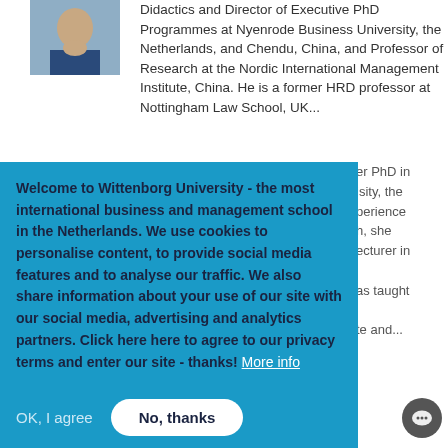[Figure (photo): Portrait photo of a man in a suit, partially visible at top left]
Didactics and Director of Executive PhD Programmes at Nyenrode Business University, the Netherlands, and Chendu, China, and Professor of Research at the Nordic International Management Institute, China. He is a former HRD professor at Nottingham Law School, UK...  read more
er PhD in
isity, the
operience
h, she
ecturer in

as taught

te and...
Welcome to Wittenborg University - the most international business and management school in the Netherlands. We use cookies to personalise content, to provide social media features and to analyse our traffic. We also share information about your use of our site with our social media, advertising and analytics partners. Click here here to agree to our privacy terms and enter our site - thanks! More info
OK, I agree
No, thanks